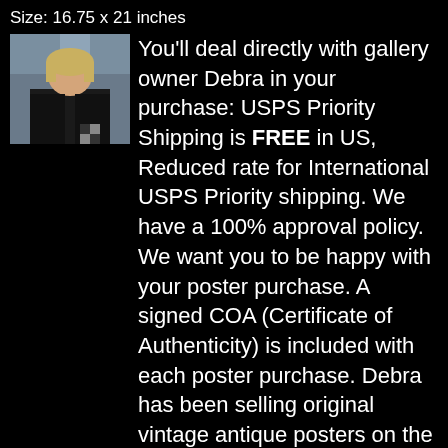Size: 16.75 x 21 inches
[Figure (photo): Portrait photo of gallery owner Debra, a woman with blonde hair wearing a dark jacket, standing indoors]
You'll deal directly with gallery owner Debra in your purchase: USPS Priority Shipping is FREE in US, Reduced rate for International USPS Priority shipping. We have a 100% approval policy. We want you to be happy with your poster purchase. A signed COA (Certificate of Authenticity) is included with each poster purchase. Debra has been selling original vintage antique posters on the web since 1995. We do not sell reproductions, only authentic antique posters.